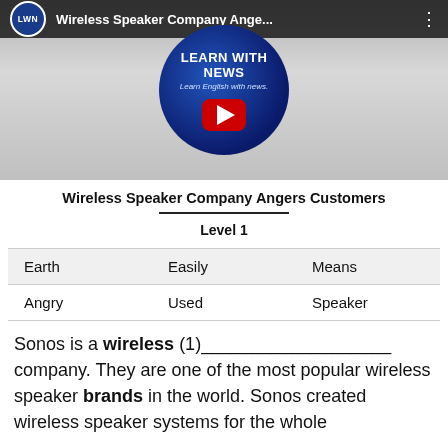[Figure (screenshot): YouTube video thumbnail for 'Wireless Speaker Company Ange...' by Learn With News channel, showing the LWN circle logo with LEARN WITH NEWS text and a YouTube play button]
Wireless Speaker Company Angers Customers
Level 1
| Earth | Easily | Means |
| --- | --- | --- |
| Angry | Used | Speaker |
Sonos is a wireless (1)___________________ company. They are one of the most popular wireless speaker brands in the world. Sonos created wireless speaker systems for the whole